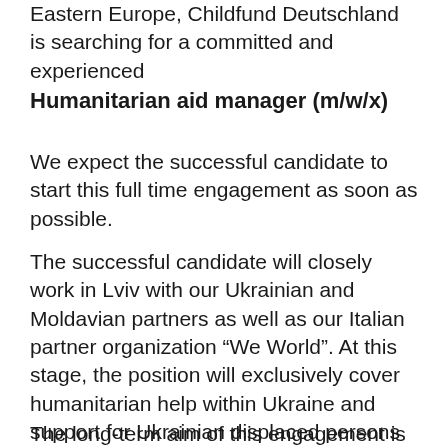Eastern Europe, Childfund Deutschland is searching for a committed and experienced
Humanitarian aid manager (m/w/x)
We expect the successful candidate to start this full time engagement as soon as possible.
The successful candidate will closely work in Lviv with our Ukrainian and Moldavian partners as well as our Italian partner organization “We World”. At this stage, the position will exclusively cover humanitarian help within Ukraine and support for Ukrainian displaced persons in Moldavia.
The long-term aim of this engagement is to